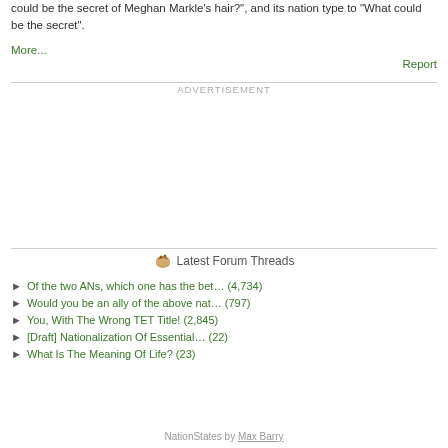could be the secret of Meghan Markle's hair?", and its nation type to "What could be the secret".
More...
Report
ADVERTISEMENT
Latest Forum Threads
Of the two ANs, which one has the bet… (4,734)
Would you be an ally of the above nat… (797)
You, With The Wrong TET Title! (2,845)
[Draft] Nationalization Of Essential… (22)
What Is The Meaning Of Life? (23)
NationStates by Max Barry